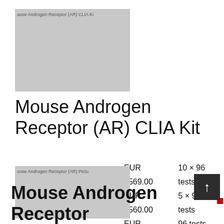[Figure (photo): Product image placeholder for Mouse Androgen Receptor (AR) CLIA Kit showing grey rectangle with partial text label]
Mouse Androgen Receptor (AR) CLIA Kit
20-abx492550
Abbexa
EUR 8569.00
EUR 4560.00
EUR 1052.00
10 × 96 tests
5 × 96 tests
96 tests
[Figure (photo): Product image placeholder for Mouse Androgen Receptor (AR) Pictu showing grey rectangle with partial text label]
Mouse Androgen Receptor